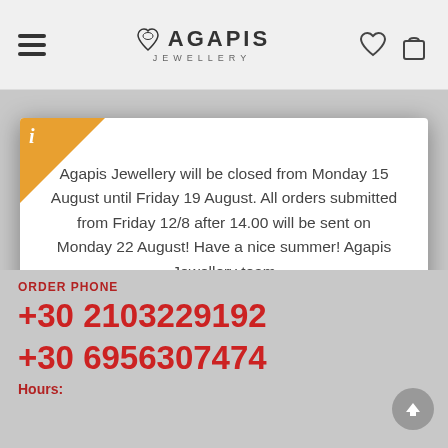AGAPIS JEWELLERY — navigation bar with hamburger menu, logo, heart and bag icons
Agapis Jewellery will be closed from Monday 15 August until Friday 19 August. All orders submitted from Friday 12/8 after 14.00 will be sent on Monday 22 August! Have a nice summer! Agapis Jewellery team
✔ OK
ORDER PHONE
+30 2103229192
+30 6956307474
Hours: